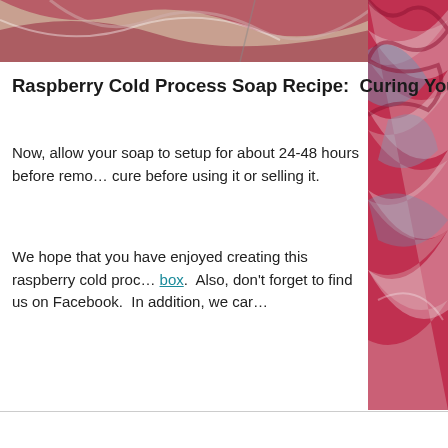[Figure (photo): Two photos of raspberry cold process soap with marbled red, white, and blue swirl patterns. Left photo shows soap being made, right photo shows the finished swirled soap bars.]
Raspberry Cold Process Soap Recipe:  Curing Your Soap
Now, allow your soap to setup for about 24-48 hours before removing from the mold.  Then, allow it to cure before using it or selling it.
We hope that you have enjoyed creating this raspberry cold process soap recipe in our subscription box.  Also, don't forget to find us on Facebook.  In addition, we can...